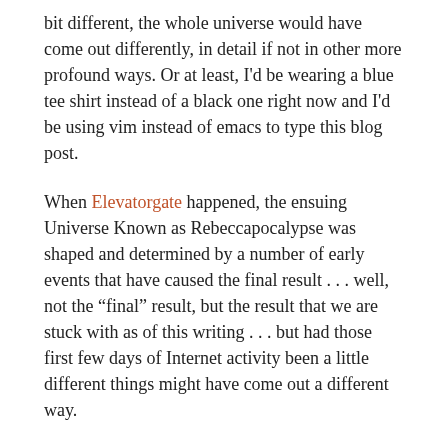bit different, the whole universe would have come out differently, in detail if not in other more profound ways. Or at least, I'd be wearing a blue tee shirt instead of a black one right now and I'd be using vim instead of emacs to type this blog post.
When Elevatorgate happened, the ensuing Universe Known as Rebeccapocalypse was shaped and determined by a number of early events that have caused the final result . . . well, not the “final” result, but the result that we are stuck with as of this writing . . . but had those first few days of Internet activity been a little different things might have come out a different way.
Here I would like to do two things. Continue reading →
View all 13 comments